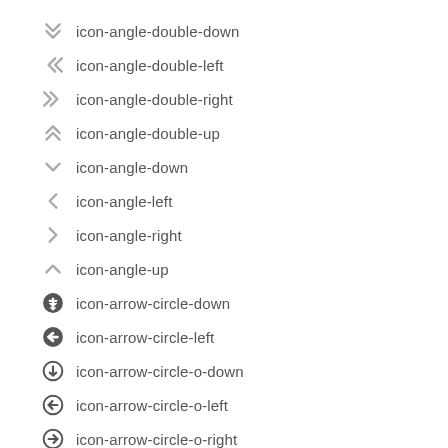icon-angle-double-down
icon-angle-double-left
icon-angle-double-right
icon-angle-double-up
icon-angle-down
icon-angle-left
icon-angle-right
icon-angle-up
icon-arrow-circle-down
icon-arrow-circle-left
icon-arrow-circle-o-down
icon-arrow-circle-o-left
icon-arrow-circle-o-right
icon-arrow-circle-o-up
icon-arrow-circle-right